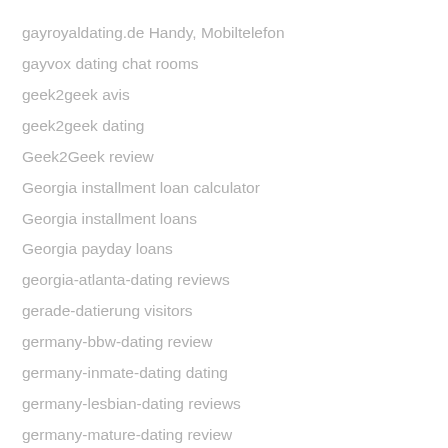gayroyaldating.de Handy, Mobiltelefon
gayvox dating chat rooms
geek2geek avis
geek2geek dating
Geek2Geek review
Georgia installment loan calculator
Georgia installment loans
Georgia payday loans
georgia-atlanta-dating reviews
gerade-datierung visitors
germany-bbw-dating review
germany-inmate-dating dating
germany-lesbian-dating reviews
germany-mature-dating review
get a payday loan